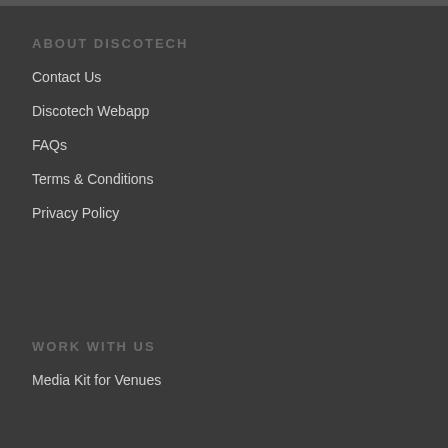ABOUT DISCOTECH
Contact Us
Discotech Webapp
FAQs
Terms & Conditions
Privacy Policy
WORK WITH US
Media Kit for Venues